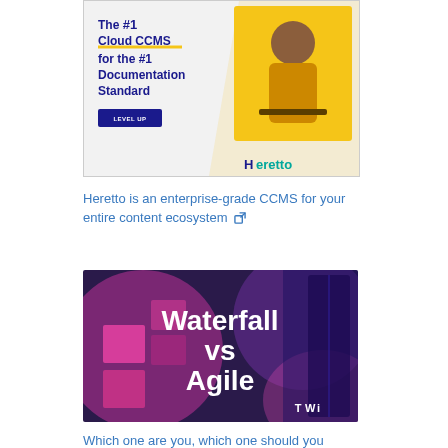[Figure (illustration): Heretto advertisement banner showing text 'The #1 Cloud CCMS for the #1 Documentation Standard' with a LEVEL UP button, a photo of a smiling woman with laptop, and the Heretto logo in teal.]
Heretto is an enterprise-grade CCMS for your entire content ecosystem 🔗
[Figure (illustration): Article thumbnail image with dark purple/pink background showing sticky notes on a board. Large bold white text reads 'Waterfall vs Agile'. TWi logo in bottom right corner.]
Which one are you, which one should you